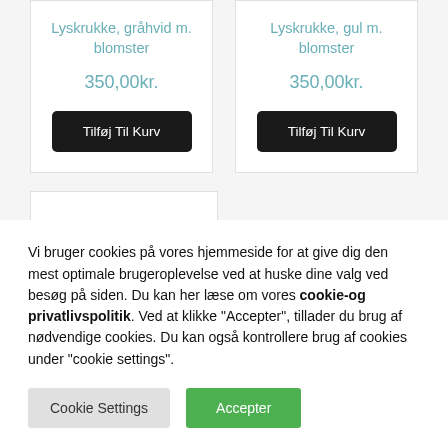Lyskrukke, gråhvid m. blomster
350,00kr.
Tilføj Til Kurv
Lyskrukke, gul m. blomster
350,00kr.
Tilføj Til Kurv
Vi bruger cookies på vores hjemmeside for at give dig den mest optimale brugeroplevelse ved at huske dine valg ved besøg på siden. Du kan her læse om vores cookie-og privatlivspolitik. Ved at klikke "Accepter", tillader du brug af nødvendige cookies. Du kan også kontrollere brug af cookies under "cookie settings".
Cookie Settings
Accepter